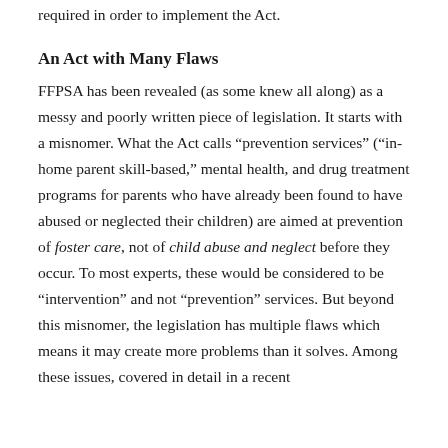required in order to implement the Act.
An Act with Many Flaws
FFPSA has been revealed (as some knew all along) as a messy and poorly written piece of legislation. It starts with a misnomer. What the Act calls “prevention services” (“in-home parent skill-based,” mental health, and drug treatment programs for parents who have already been found to have abused or neglected their children) are aimed at prevention of foster care, not of child abuse and neglect before they occur. To most experts, these would be considered to be “intervention” and not “prevention” services. But beyond this misnomer, the legislation has multiple flaws which means it may create more problems than it solves. Among these issues, covered in detail in a recent